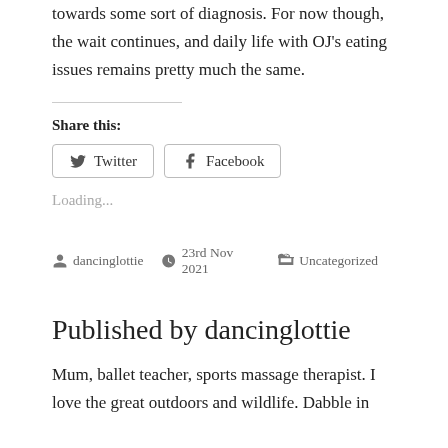towards some sort of diagnosis. For now though, the wait continues, and daily life with OJ's eating issues remains pretty much the same.
Share this:
Twitter  Facebook
Loading...
dancinglottie   23rd Nov 2021   Uncategorized
Published by dancinglottie
Mum, ballet teacher, sports massage therapist. I love the great outdoors and wildlife. Dabble in